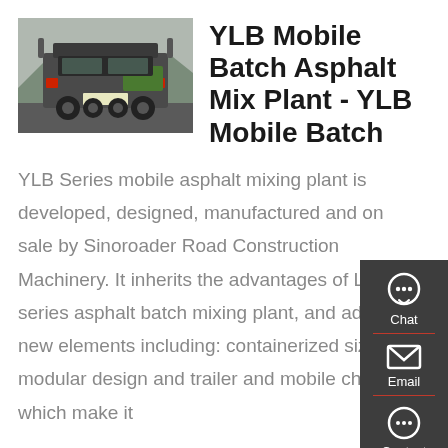[Figure (photo): Rear view of a heavy truck/semi-trailer used for mobile asphalt mix plant transport, photographed outdoors with mountains in background.]
YLB Mobile Batch Asphalt Mix Plant - YLB Mobile Batch
YLB Series mobile asphalt mixing plant is developed, designed, manufactured and on sale by Sinoroader Road Construction Machinery. It inherits the advantages of LB series asphalt batch mixing plant, and adds new elements including: containerized size, modular design and trailer and mobile chassis which make it